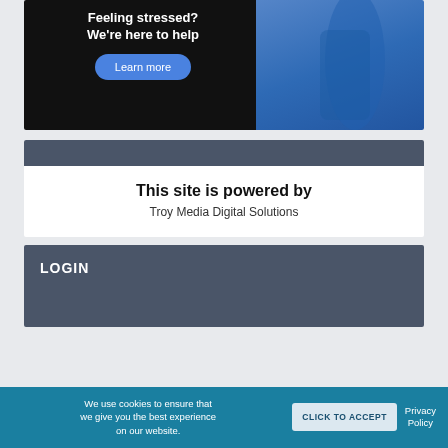[Figure (illustration): Advertisement banner with dark background on left showing 'Feeling stressed? We're here to help' text and a blue 'Learn more' button, and a blue image of a person wearing blue on the right.]
This site is powered by
Troy Media Digital Solutions
LOGIN
We use cookies to ensure that we give you the best experience on our website.
CLICK TO ACCEPT
Privacy Policy